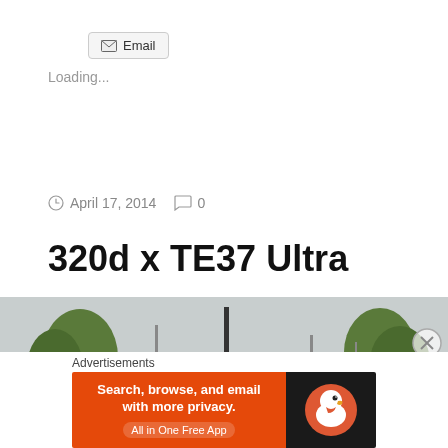Email
Loading...
April 17, 2014   0
320d x TE37 Ultra
[Figure (photo): Outdoor photo of a car (partially visible roof) with trees and overcast sky in background]
Advertisements
[Figure (other): DuckDuckGo advertisement banner: 'Search, browse, and email with more privacy. All in One Free App' with DuckDuckGo duck logo on dark background]